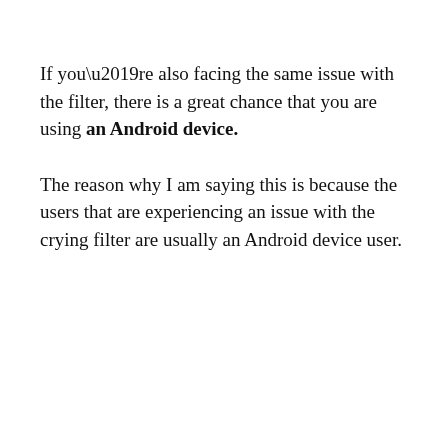If you’re also facing the same issue with the filter, there is a great chance that you are using an Android device.
The reason why I am saying this is because the users that are experiencing an issue with the crying filter are usually an Android device user.